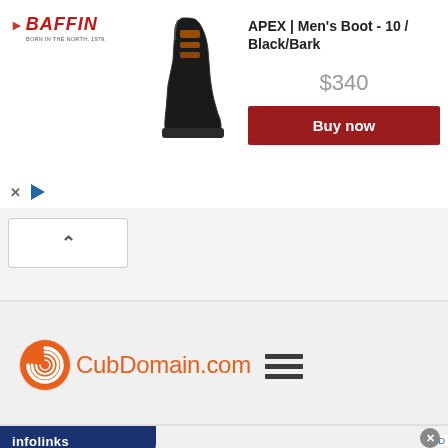[Figure (screenshot): Baffin APEX Men's Boot advertisement banner with boot image, price $340, and Buy now button]
[Figure (screenshot): Collapsed accordion section with upward chevron button]
[Figure (logo): CubDomain.com logo with orange spiral icon and hamburger menu icon]
[Figure (screenshot): Infolinks ad bar with Frontgate Outdoor Furniture advertisement showing 25% off sitewide]
APEX | Men's Boot - 10 / Black/Bark
$340
Buy now
CubDomain.com
infolinks
Frontgate: Outdoor Furniture | Bedding
25% off site wide sale going on now at Frontgate.com
frontgate.com